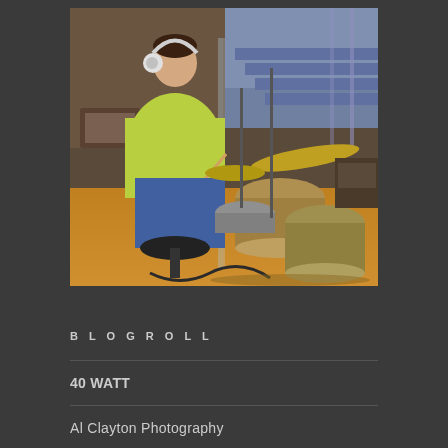[Figure (photo): A musician sitting at a drum kit in a recording studio, wearing headphones and a yellow-green t-shirt with blue jeans, playing drums. The studio has glass dividers, microphone stands, and warm orange lighting on the floor. Various studio equipment visible in the background.]
BLOGROLL
40 WATT
Al Clayton Photography
APA